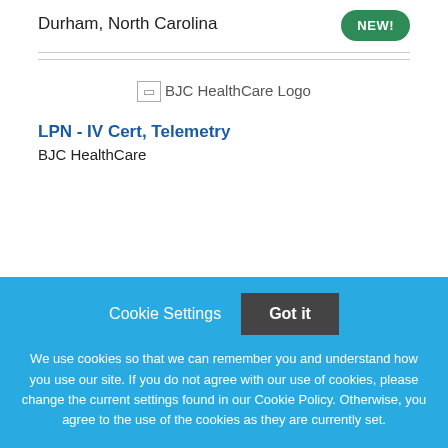Durham, North Carolina
[Figure (logo): BJC HealthCare Logo placeholder image]
LPN - IV Cert, Telemetry
BJC HealthCare
Cookie Settings  Got it
We use cookies so that we can remember you and understand how you use our site. If you do not agree with our use of cookies, please change the current settings found in our Cookie Policy. Otherwise, you agree to the use of the cookies as they are currently set.